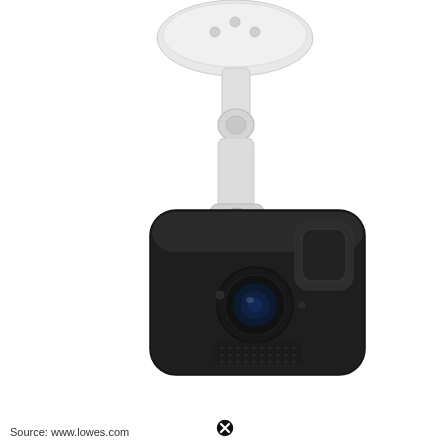[Figure (photo): A black Blink outdoor security camera mounted on a white adjustable bracket/mount that is attached to a ceiling. The camera is a compact rectangular black unit with a wide-angle lens, motion sensor, and speaker grill visible on the front face. The white mount has a suction-cup style ceiling plate at the top with a close/remove button icon overlay.]
Source: www.lowes.com